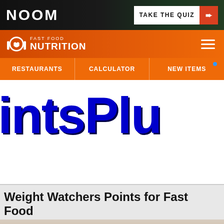[Figure (screenshot): NOOM advertisement banner with dark background showing 'TAKE THE QUIZ' button with orange arrow]
FAST FOOD NUTRITION
[Figure (screenshot): Navigation menu with RESTAURANTS, CALCULATOR, NEW ITEMS options on orange background]
[Figure (screenshot): Large blue bold text reading 'intsPlus' (partial view of 'PointsPlus') on white background]
Weight Watchers Points for Fast Food
[Figure (photo): Partial view of a hand or food item at the bottom of the page on light beige background]